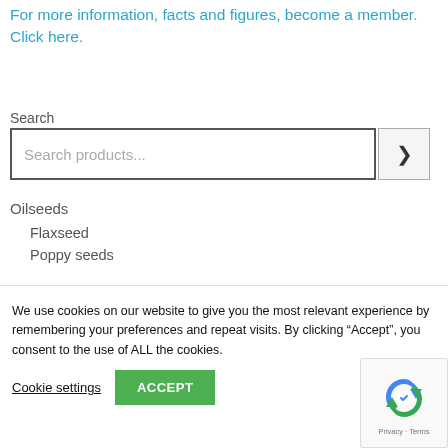For more information, facts and figures, become a member. Click here.
Search
Search products...
Oilseeds
Flaxseed
Poppy seeds
We use cookies on our website to give you the most relevant experience by remembering your preferences and repeat visits. By clicking “Accept”, you consent to the use of ALL the cookies.
Cookie settings
ACCEPT